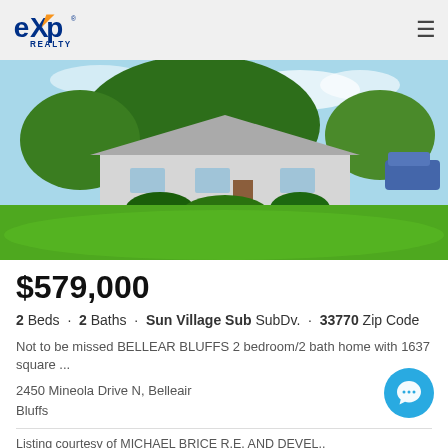eXp Realty
[Figure (photo): Exterior photo of a single-story house with large green lawn, trees in foreground, and blue sky.]
$579,000
2 Beds · 2 Baths · Sun Village Sub SubDv. · 33770 Zip Code
Not to be missed BELLEAR BLUFFS 2 bedroom/2 bath home with 1637 square ...
2450 Mineola Drive N, Belleair Bluffs
Listing courtesy of MICHAEL BRICE R.E. AND DEVEL..